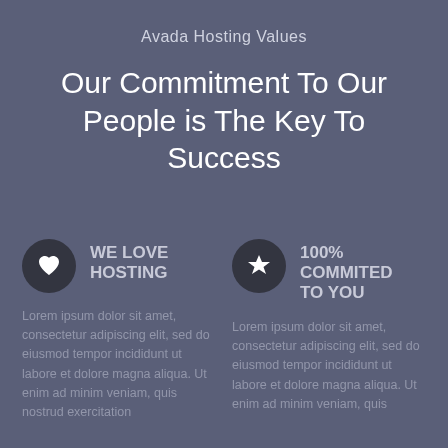Avada Hosting Values
Our Commitment To Our People is The Key To Success
WE LOVE HOSTING
Lorem ipsum dolor sit amet, consectetur adipiscing elit, sed do eiusmod tempor incididunt ut labore et dolore magna aliqua. Ut enim ad minim veniam, quis nostrud exercitation
100% COMMITED TO YOU
Lorem ipsum dolor sit amet, consectetur adipiscing elit, sed do eiusmod tempor incididunt ut labore et dolore magna aliqua. Ut enim ad minim veniam, quis